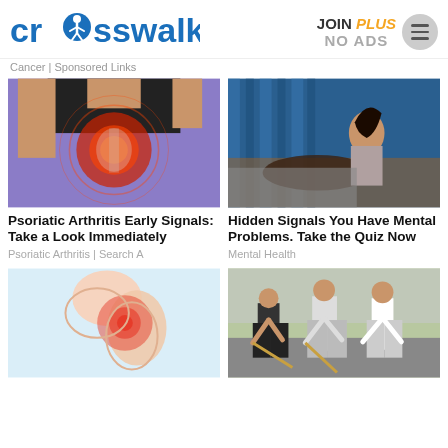[Figure (logo): crosswalk.com logo in blue with person icon replacing the 'o']
JOIN PLUS NO ADS
Cancer | Sponsored Links
[Figure (photo): Person with hip pain highlighted in red/orange, wearing black shirt and purple pants]
Psoriatic Arthritis Early Signals: Take a Look Immediately
Psoriatic Arthritis | Search A
[Figure (photo): Woman sitting on bed in a dark blue-lit room, person lying behind her]
Hidden Signals You Have Mental Problems. Take the Quiz Now
Mental Health
[Figure (photo): Medical illustration of shoulder joint with red inflammation spot on light blue background]
[Figure (photo): Workers bending over doing construction or cleanup work on the ground outdoors]